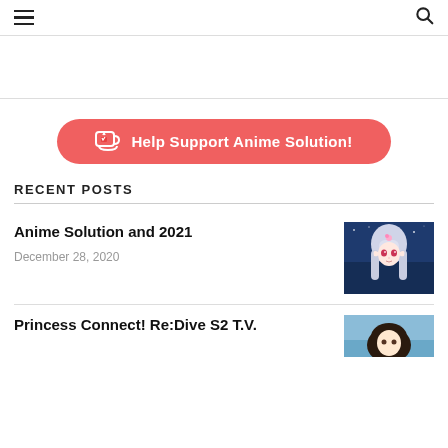☰ [menu icon] | 🔍 [search icon]
[Figure (other): Advertisement area, blank white space]
[Figure (other): Red rounded button with coffee cup icon: Help Support Anime Solution!]
RECENT POSTS
Anime Solution and 2021
December 28, 2020
[Figure (illustration): Anime girl with white/silver long hair and elf ears, blue background]
Princess Connect! Re:Dive S2 T.V.
[Figure (illustration): Anime character, blue toned background, partially visible]